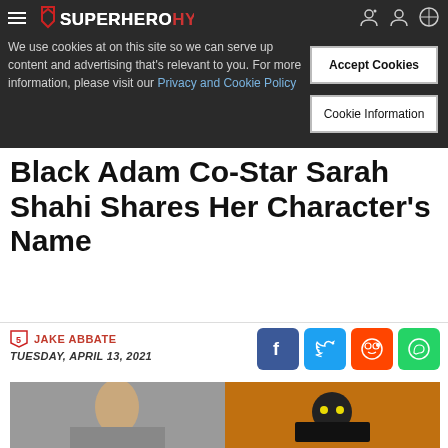SuperHeroHype
We use cookies at on this site so we can serve up content and advertising that's relevant to you. For more information, please visit our Privacy and Cookie Policy
Accept Cookies
Cookie Information
Black Adam Co-Star Sarah Shahi Shares Her Character's Name
JAKE ABBATE
TUESDAY, APRIL 13, 2021
[Figure (photo): Two images side by side: left shows a woman with dark hair (Sarah Shahi), right shows Black Adam character artwork with glowing eyes.]